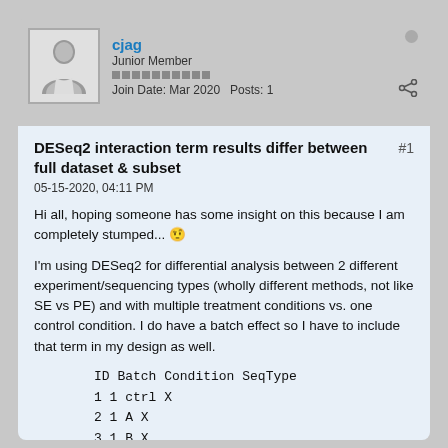cjag
Junior Member
Join Date: Mar 2020   Posts: 1
DESeq2 interaction term results differ between full dataset & subset
#1
05-15-2020, 04:11 PM
Hi all, hoping someone has some insight on this because I am completely stumped... 🤨
I'm using DESeq2 for differential analysis between 2 different experiment/sequencing types (wholly different methods, not like SE vs PE) and with multiple treatment conditions vs. one control condition. I do have a batch effect so I have to include that term in my design as well.
ID Batch Condition SeqType
1 1 ctrl X
2 1 A X
3 1 B X
4 1 C X
5 2 ctrl X
6 2 A X
7 2 B X